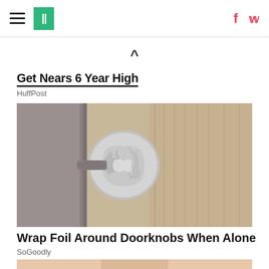HuffPost navigation bar with hamburger menu, logo, facebook and twitter icons
Get Nears 6-Year High
HuffPost
[Figure (photo): Close-up photo of a door knob wrapped in aluminum foil]
Wrap Foil Around Doorknobs When Alone
SoGoodly
[Figure (photo): Partial photo of a person's face, cropped at the top of the frame]